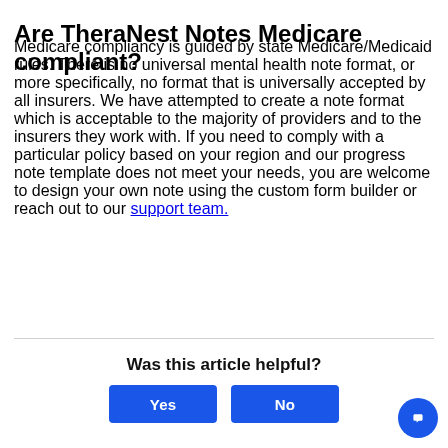Are TheraNest Notes Medicare compliant?
Medicare compliancy is guided by state Medicare/Medicaid rules. There is no universal mental health note format, or more specifically, no format that is universally accepted by all insurers. We have attempted to create a note format which is acceptable to the majority of providers and to the insurers they work with. If you need to comply with a particular policy based on your region and our progress note template does not meet your needs, you are welcome to design your own note using the custom form builder or reach out to our support team.
Was this article helpful?